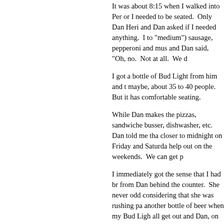It was about 8:15 when I walked into Per or I needed to be seated. Only Dan Heri and Dan asked if I needed anything. I to "medium") sausage, pepperoni and mus and Dan said, "Oh, no. Not at all. We d
I got a bottle of Bud Light from him and t maybe, about 35 to 40 people. But it has comfortable seating.
While Dan makes the pizzas, sandwiche busser, dishwasher, etc. Dan told me tha closer to midnight on Friday and Saturda help out on the weekends. We can get p
I immediately got the sense that I had br from Dan behind the counter. She never odd considering that she was rushing pa another bottle of beer when my Bud Ligh all get out and Dan, on the other hand, w me out another bottle of Bud Light just b
When it was ready, Dan brought it out ar sausage, lots of pepperoni and mushroo was going to be no way that I could finis
While the hand-tossed crust was a little t Actually, the crust was about the only dis plentiful. The sausage used at Perfetto b thought, there was no way I could eat the micro-wave back in my room. Perfetto